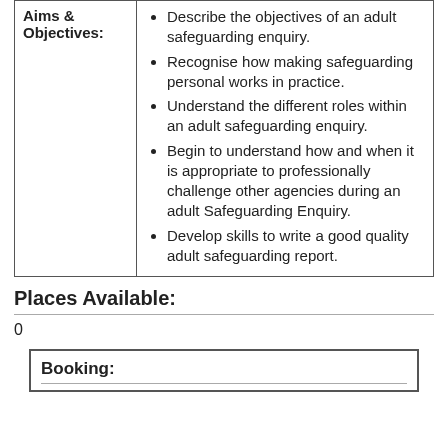|  |  |
| --- | --- |
| Aims & Objectives: | Describe the objectives of an adult safeguarding enquiry.
Recognise how making safeguarding personal works in practice.
Understand the different roles within an adult safeguarding enquiry.
Begin to understand how and when it is appropriate to professionally challenge other agencies during an adult Safeguarding Enquiry.
Develop skills to write a good quality adult safeguarding report. |
Places Available:
0
Booking: